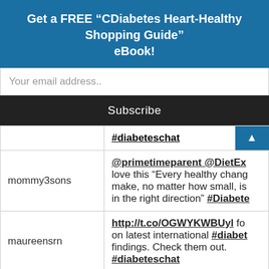Get a FREE “CDiabetes Heart-Healthy Shopping Guide” eBook!
Your email address..
Subscribe
|  | #diabeteschat |
| --- | --- |
| mommy3sons | @primetimeparent @DietEx love this “Every healthy chang make, no matter how small, is in the right direction” #Diabete |
| maureensrn | http://t.co/OGWYKWBUyl fo on latest international #diabet findings. Check them out. #diabeteschat |
| kymnasium | @primetimeparent @DietEx fav tweet Exercise helps to ma |